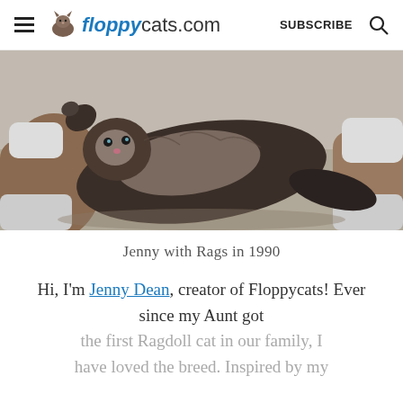floppycats.com  SUBSCRIBE
[Figure (photo): A large fluffy dark cat lying on its back being held/petted by a person, vintage photo style.]
Jenny with Rags in 1990
Hi, I'm Jenny Dean, creator of Floppycats! Ever since my Aunt got the first Ragdoll cat in our family, I have loved the breed. Inspired by my